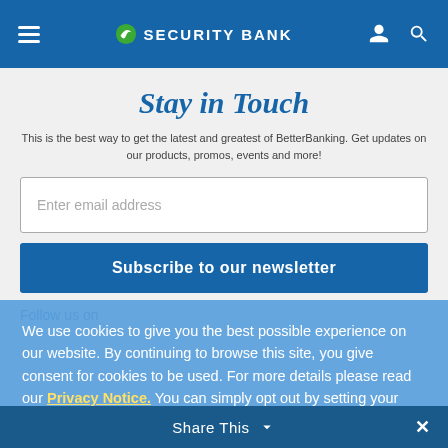Security Bank navigation bar
Stay in Touch
This is the best way to get the latest and greatest of BetterBanking. Get updates on our products, promos, events and more!
Enter email address
Subscribe to our newsletter
Follow us on
We use cookies to give you the best possible experience on our website. By continuing to browse this site, you give consent for cookies to be used. For more details please read our Privacy Notice. You can simply opt out by setting your browser to not receive any cookies from this website.
Share This